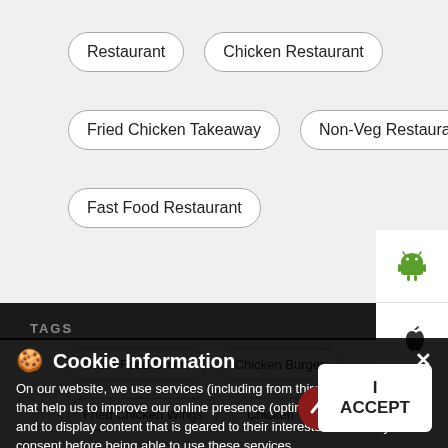Restaurant
Chicken Restaurant
Fried Chicken Takeaway
Non-Veg Restaurant
Fast Food Restaurant
TAGS
Cookie Information
On our website, we use services (including from third-party providers) that help us to improve our online presence (optimization of website) and to display content that is geared to their interests. We need your consent before being able to use these services.
Order Food Online
Chicken Burger
Fried Chicken Wings
Chicken Wings
I ACCEPT